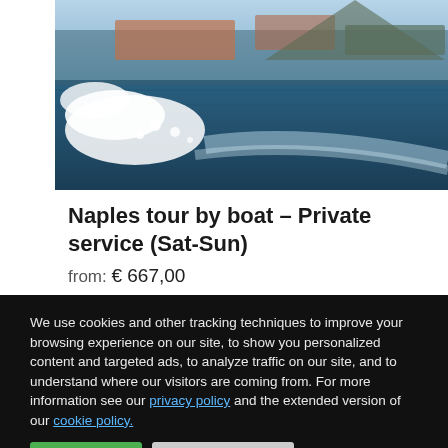[Figure (photo): Aerial/boat-wake view of Naples coastline with blue sea and white wake, city and hills in background]
Naples tour by boat – Private service (Sat-Sun)
from: € 667,00
daily
We use cookies and other tracking techniques to improve your browsing experience on our site, to show you personalized content and targeted ads, to analyze traffic on our site, and to understand where our visitors are coming from. For more information see our privacy policy and the extended version of our cookie policy.
Accept All
Cookie Settings